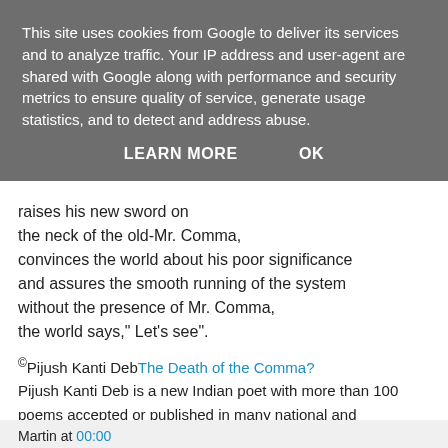This site uses cookies from Google to deliver its services and to analyze traffic. Your IP address and user-agent are shared with Google along with performance and security metrics to ensure quality of service, generate usage statistics, and to detect and address abuse.
LEARN MORE    OK
raises his new sword on
the neck of the old-Mr. Comma,
convinces the world about his poor significance
and assures the smooth running of the system
without the presence of Mr. Comma,
the world says," Let's see".
©Pijush Kanti DebThe Death of the Comma?
Pijush Kanti Deb is a new Indian poet with more than 100 poems accepted or published in many national and international magazines and journals- print and on-line since June 2013.He is an Associate Professor in Economics.
Martin at 00:00